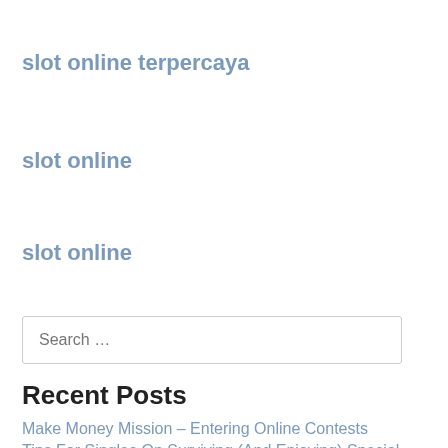slot online terpercaya
slot online
slot online
Search …
Recent Posts
Make Money Mission – Entering Online Contests
Tips For Singles On Surviving (And Enjoying) Special Occasions